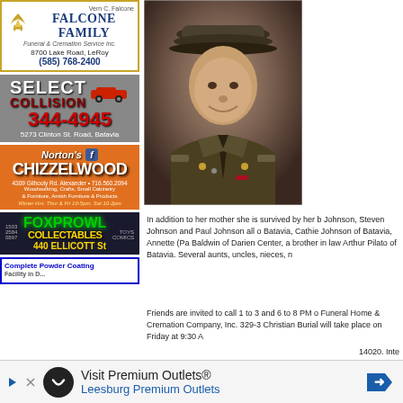[Figure (photo): Military officer portrait photo in uniform with cap, smiling]
31, 2011 fo Medical Ce New York t (Lang) Joh by Five Sta worked for started at t public. She preceded in
[Figure (logo): Falcone Family Funeral & Cremation Service Inc. advertisement - Vern C. Falcone, 8700 Lake Road, LeRoy, (585) 768-2400]
[Figure (logo): Select Collision advertisement - 344-4945, 5273 Clinton St. Road, Batavia]
[Figure (logo): Norton's Chizzelwood advertisement - 4309 Gilhooly Rd. Alexander, 716.560.2094, Woodworking, Crafts, Small Cabinetry & Furniture, Amish Furniture & Products, Winter Hrs: Thur & Fri 10-5pm, Sat 10-2pm]
[Figure (logo): FoxProwl Collectables advertisement - 440 Ellicott St, Toys, Comics]
[Figure (logo): Complete Powder Coating Facility advertisement]
In addition to her mother she is survived by her b Johnson, Steven Johnson and Paul Johnson all o Batavia, Cathie Johnson of Batavia, Annette (Pa Baldwin of Darien Center, a brother in law Arthur Pilato of Batavia. Several aunts, uncles, nieces, n
Friends are invited to call 1 to 3 and 6 to 8 PM o Funeral Home & Cremation Company, Inc. 329-3 Christian Burial will take place on Friday at 9:30 A
[Figure (screenshot): Advertisement banner: Visit Premium Outlets - Leesburg Premium Outlets]
14020. Inte